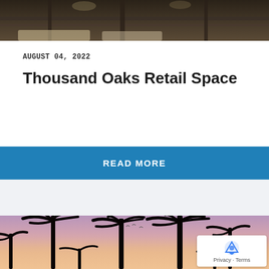[Figure (photo): Interior photo showing leather furniture, metal railings, modern lounge area with dim lighting]
AUGUST 04, 2022
Thousand Oaks Retail Space
READ MORE
[Figure (photo): Outdoor photo of palm tree silhouettes against a pink and purple sunset sky]